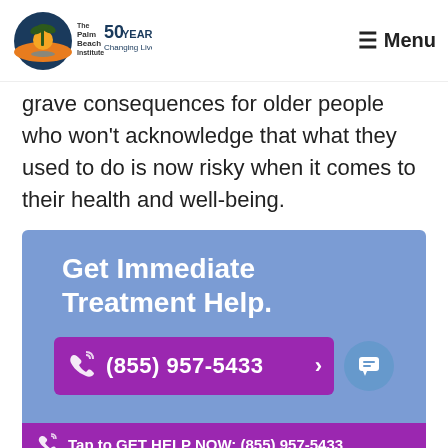The Palm Beach Institute — 50 Years Changing Lives | Menu
grave consequences for older people who won't acknowledge that what they used to do is now risky when it comes to their health and well-being.
[Figure (infographic): Call-to-action banner with purple/blue background reading 'Get Immediate Treatment Help.' with a magenta phone button showing (855) 957-5433, a chat circle icon, and a bottom bar saying 'Tap to GET HELP NOW: (855) 957-5433']